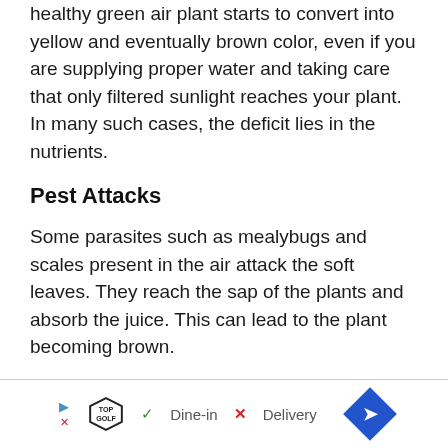healthy green air plant starts to convert into yellow and eventually brown color, even if you are supplying proper water and taking care that only filtered sunlight reaches your plant. In many such cases, the deficit lies in the nutrients.
Pest Attacks
Some parasites such as mealybugs and scales present in the air attack the soft leaves. They reach the sap of the plants and absorb the juice. This can lead to the plant becoming brown.
[Figure (other): Advertisement banner for TopGolf showing Dine-in and Delivery options with a navigation arrow icon]